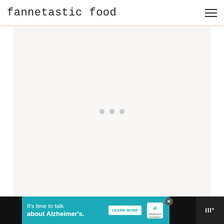fannetastic food
[Figure (other): Large light-gray content area placeholder with three small gray loading dots in the center, indicating content is loading.]
[Figure (other): Advertisement banner: teal background, text 'It's time to talk about Alzheimer's.' with a LEARN MORE button and Alzheimer's Association logo. Close button (X) in top right corner of ad. Right side dark panel with stylized W logo.]